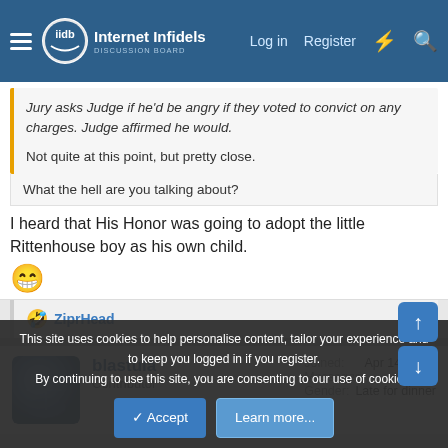Internet Infidels — Log in  Register
Jury asks Judge if he'd be angry if they voted to convict on any charges. Judge affirmed he would.

Not quite at this point, but pretty close.
What the hell are you talking about?
I heard that His Honor was going to adopt the little Rittenhouse boy as his own child. 😁
🤣 ZiprHead
blastula
Contributor
Joined: Apr 14, 2006
Messages: 8,147
Gender: Late for dinner
This site uses cookies to help personalise content, tailor your experience and to keep you logged in if you register.
By continuing to use this site, you are consenting to our use of cookies.